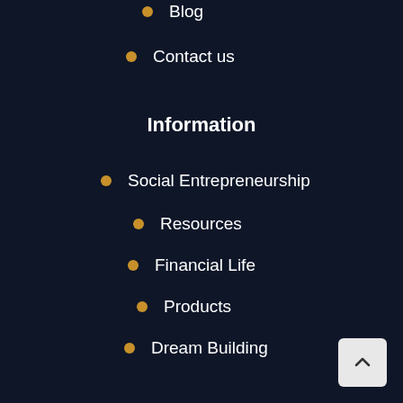Blog
Contact us
Information
Social Entrepreneurship
Resources
Financial Life
Products
Dream Building